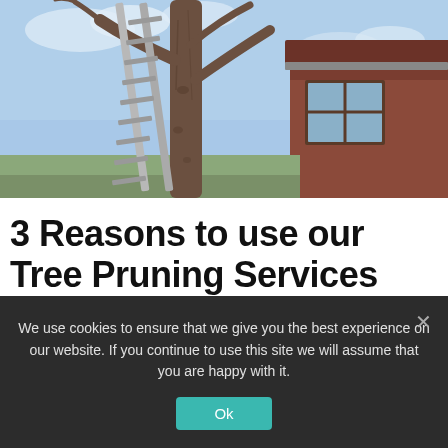[Figure (photo): Outdoor photo showing an aluminum ladder leaning against a tall tree with bare branches, next to a red brick house with brown-framed windows, under a partly cloudy blue sky. A tree surgeon setting.]
3 Reasons to use our Tree Pruning Services
[Figure (infographic): Call-to-action button with green phone circle on left and yellow pill-shaped button reading 'GET your QUOTE now!' with 'WhatsApp Message Us' below, partially overlaid by cookie banner.]
We use cookies to ensure that we give you the best experience on our website. If you continue to use this site we will assume that you are happy with it.